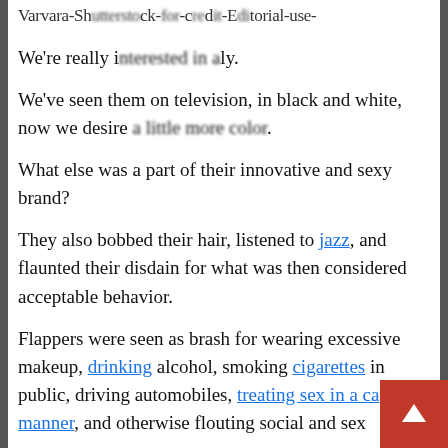Varvara-Shutterstock-for-credit-Editorial-use-
We're really interested in a ly.
We've seen them on television, in black and white, now we desire a little more color.
What else was a part of their innovative and sexy brand?
They also bobbed their hair, listened to jazz, and flaunted their disdain for what was then considered acceptable behavior.
Flappers were seen as brash for wearing excessive makeup, drinking alcohol, smoking cigarettes in public, driving automobiles, treating sex in a casual manner, and otherwise flouting social and sexual norms.